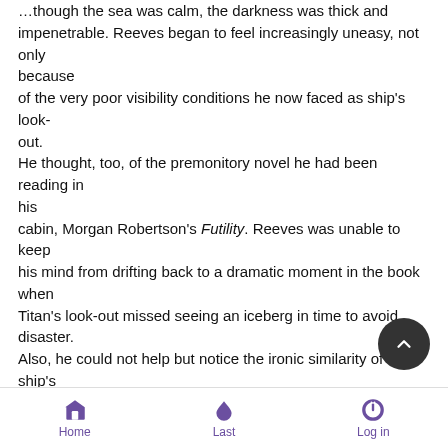…though the sea was calm, the darkness was thick and impenetrable. Reeves began to feel increasingly uneasy, not only because of the very poor visibility conditions he now faced as ship's look-out. He thought, too, of the premonitory novel he had been reading in his cabin, Morgan Robertson's Futility. Reeves was unable to keep his mind from drifting back to a dramatic moment in the book when Titan's look-out missed seeing an iceberg in time to avoid disaster. Also, he could not help but notice the ironic similarity of his ship's name, Titanian, and Robertson's Titan with Titanic.
As his sense of irony deepened into anxiety, he realised that the time was now 23:35, just five minutes before the hour Titan struck the
iceberg. Reeves knew that penalties were severe for raising a
Home  Last  Log in